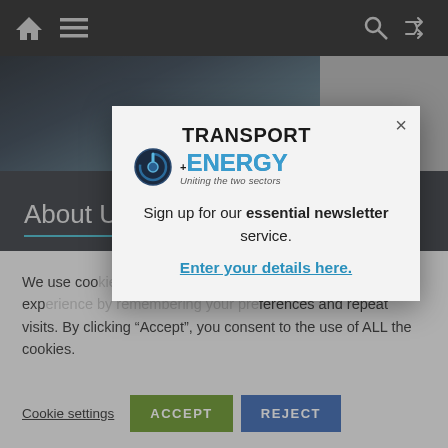[Figure (screenshot): Website screenshot showing Transport+Energy navigation bar, image area, About Us section, and cookie consent popup modal.]
About Us
We use cookies on our website to give you the most relevant experience by remembering your preferences and repeat visits. By clicking “Accept”, you consent to the use of ALL the cookies.
[Figure (logo): Transport+Energy logo with power button icon and tagline: Uniting the two sectors]
Sign up for our essential newsletter service.
Enter your details here.